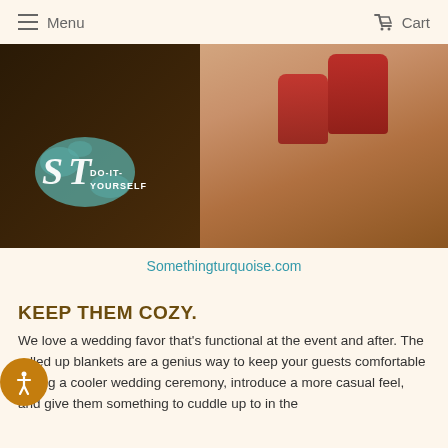Menu   Cart
[Figure (photo): Close-up of a woman's hand with red nail polish and an engagement ring, holding a glass. Overlaid with a teal paint-splash logo and text 'ST DO-IT-YOURSELF' in white.]
Somethingturquoise.com
KEEP THEM COZY.
We love a wedding favor that's functional at the event and after. The rolled up blankets are a genius way to keep your guests comfortable during a cooler wedding ceremony, introduce a more casual feel, and give them something to cuddle up to in the